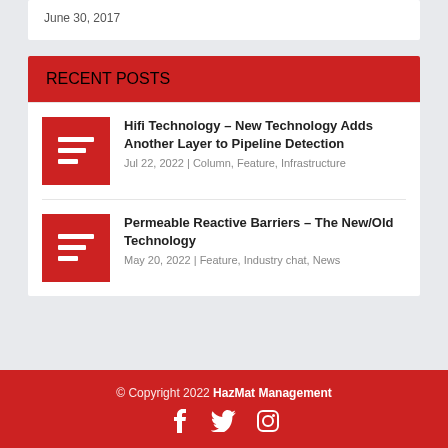June 30, 2017
RECENT POSTS
Hifi Technology – New Technology Adds Another Layer to Pipeline Detection
Jul 22, 2022 | Column, Feature, Infrastructure
Permeable Reactive Barriers – The New/Old Technology
May 20, 2022 | Feature, Industry chat, News
© Copyright 2022 HazMat Management